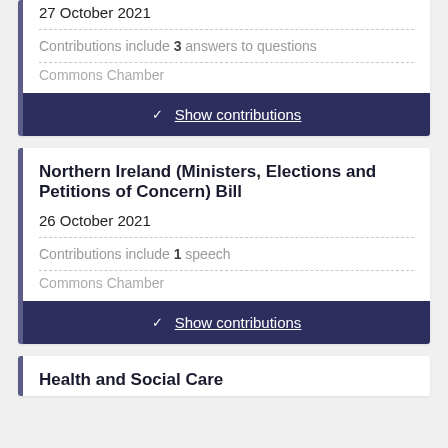27 October 2021
Contributions include 3 answers to questions
Commons Chamber
Show contributions
Northern Ireland (Ministers, Elections and Petitions of Concern) Bill
26 October 2021
Contributions include 1 speech
Commons Chamber
Show contributions
Health and Social Care